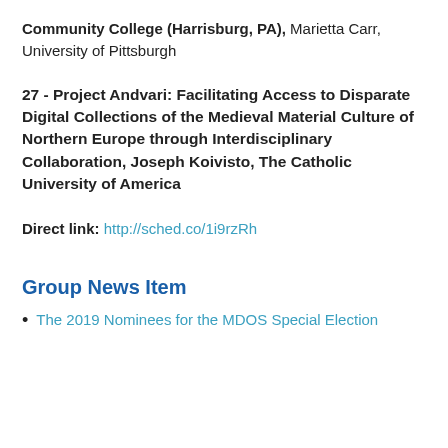Community College (Harrisburg, PA), Marietta Carr, University of Pittsburgh
27 - Project Andvari: Facilitating Access to Disparate Digital Collections of the Medieval Material Culture of Northern Europe through Interdisciplinary Collaboration, Joseph Koivisto, The Catholic University of America
Direct link: http://sched.co/1i9rzRh
Group News Item
The 2019 Nominees for the MDOS Special Election